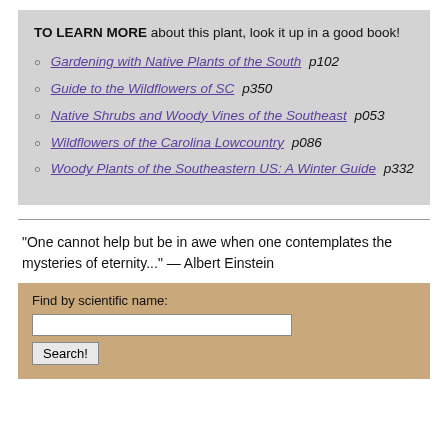TO LEARN MORE about this plant, look it up in a good book!
Gardening with Native Plants of the South p102
Guide to the Wildflowers of SC p350
Native Shrubs and Woody Vines of the Southeast p053
Wildflowers of the Carolina Lowcountry p086
Woody Plants of the Southeastern US: A Winter Guide p332
"One cannot help but be in awe when one contemplates the mysteries of eternity..." — Albert Einstein
Find by scientific name: